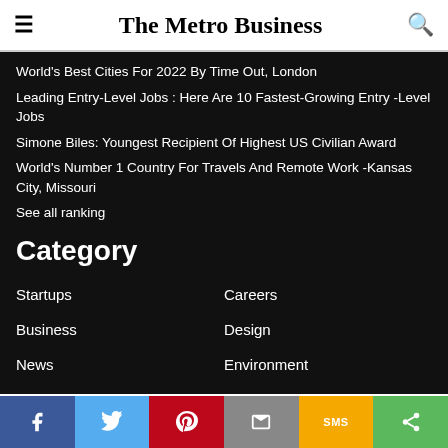The Metro Business
World's Best Cities For 2022 By Time Out, London
Leading Entry-Level Jobs : Here Are 10 Fastest-Growing Entry -Level Jobs
Simone Biles: Youngest Recipient Of Highest US Civilian Award
World's Number 1 Country For Travels And Remote Work -Kansas City, Missouri
See all ranking
Category
Startups
Business
News
Education
Careers
Design
Environment
Energy
Facebook Twitter Pinterest Email SMS Share